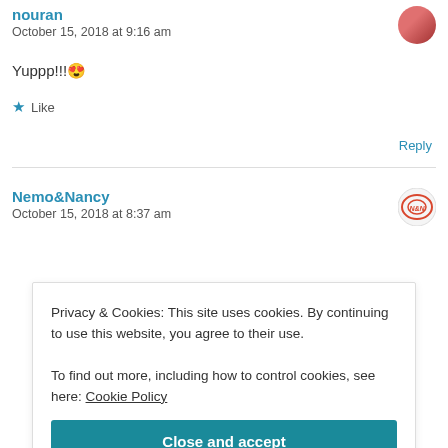October 15, 2018 at 9:16 am
Yuppp!!!😍
★ Like
Reply
Nemo&Nancy
October 15, 2018 at 8:37 am
Privacy & Cookies: This site uses cookies. By continuing to use this website, you agree to their use.
To find out more, including how to control cookies, see here: Cookie Policy
Close and accept